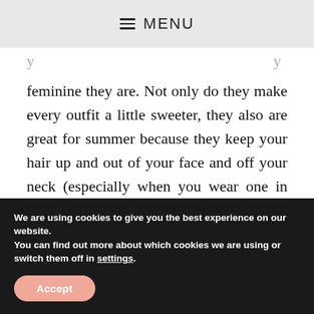≡ MENU
feminine they are. Not only do they make every outfit a little sweeter, they also are great for summer because they keep your hair up and out of your face and off your neck (especially when you wear one in combination with a messy bun or braid.) This pack comes with one headband in EVERY COLOR so you will have one to match every outfit. I always get compliments when I wear one of these headbands
We are using cookies to give you the best experience on our website.
You can find out more about which cookies we are using or switch them off in settings.
Accept